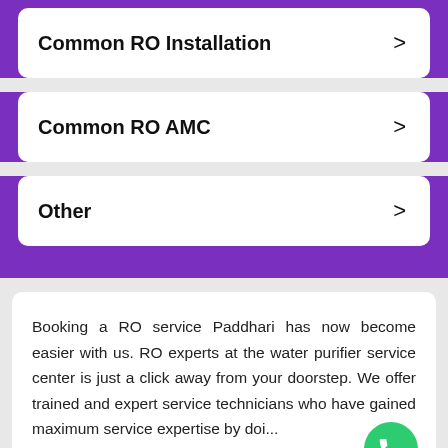Common RO Installation
Common RO AMC
Other
Booking a RO service Paddhari has now become easier with us. RO experts at the water purifier service center is just a click away from your doorstep. We offer trained and expert service technicians who have gained maximum service expertise by doi...
Read more >